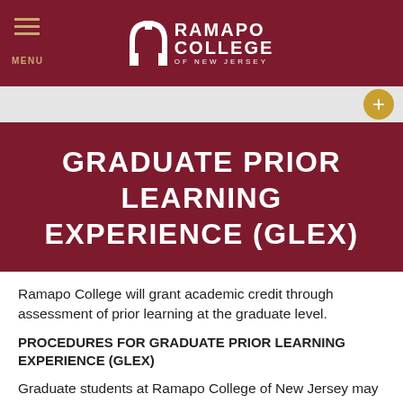MENU | RAMAPO COLLEGE OF NEW JERSEY
GRADUATE PRIOR LEARNING EXPERIENCE (GLEX)
Ramapo College will grant academic credit through assessment of prior learning at the graduate level.
PROCEDURES FOR GRADUATE PRIOR LEARNING EXPERIENCE (GLEX)
Graduate students at Ramapo College of New Jersey may receive credit for graduate-level knowledge that they